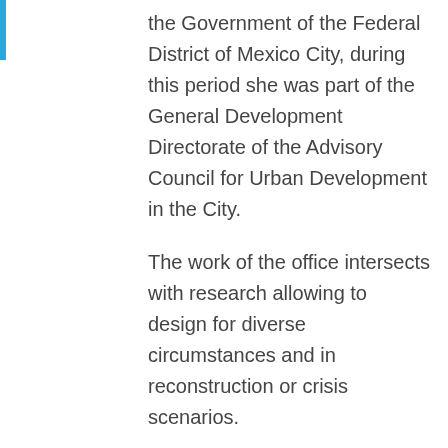the Government of the Federal District of Mexico City, during this period she was part of the General Development Directorate of the Advisory Council for Urban Development in the City.
The work of the office intersects with research allowing to design for diverse circumstances and in reconstruction or crisis scenarios.
Bilbao holds a recurring teaching position at Yale University School of Architecture and has taught at Harvard University GSD, AA Association in London, Columbia University